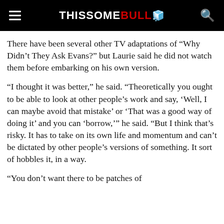THISSOME BULL
There have been several other TV adaptations of “Why Didn’t They Ask Evans?” but Laurie said he did not watch them before embarking on his own version.
“I thought it was better,” he said. “Theoretically you ought to be able to look at other people’s work and say, ‘Well, I can maybe avoid that mistake’ or ‘That was a good way of doing it’ and you can ‘borrow,’” he said. “But I think that’s risky. It has to take on its own life and momentum and can’t be dictated by other people’s versions of something. It sort of hobbles it, in a way.
“You don’t want there to be patches of